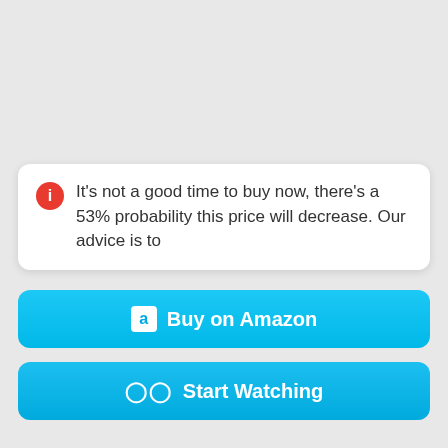It's not a good time to buy now, there's a 53% probability this price will decrease. Our advice is to
Buy on Amazon
Start Watching